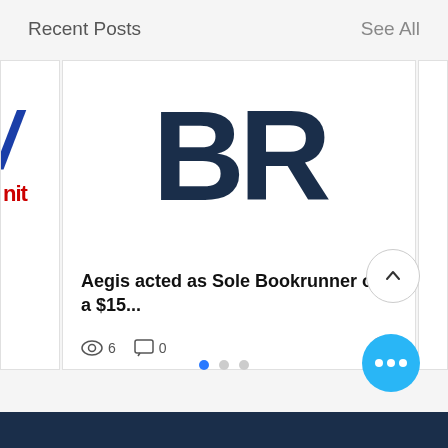Recent Posts
See All
[Figure (logo): Partial logo visible on left card — blue italic slash and red 'it' text]
[Figure (logo): BR initials logo in dark navy blue, large bold letters on white card background]
Aegis acted as Sole Bookrunner on a $15...
6
0